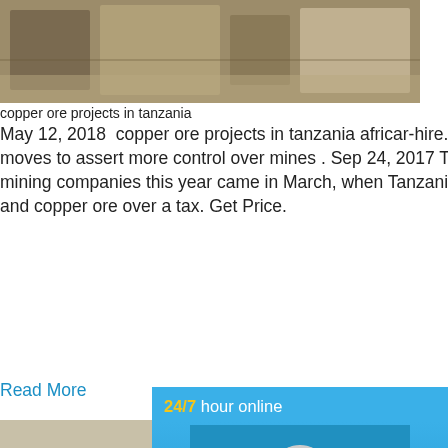[Figure (photo): Photo of copper ore mining equipment/structure outdoors]
copper ore projects in tanzania
May 12, 2018  copper ore projects in tanzania africar-hire. Investors wary as Tanzania moves to assert more control over mines . Sep 24, 2017 The first serious blow to mining companies this year came in March, when Tanzania banned the export of gold and copper ore over a tax. Get Price.
Read More
[Figure (photo): Photo of mobile cone/jaw crusher machine on truck trailer]
copper ore projects in tanzania
copper ore projects in tanzania. copper ore tanzania. Company Overview The Nile Mac Ltd,Meanwhile it also has undertaken large ts of projects that represent the countrys maic
[Figure (infographic): Blue sidebar widget showing 24/7 hour online text, cone crusher machine image, Click me to chat>> button, Enquiry section, limingjlmofen section]